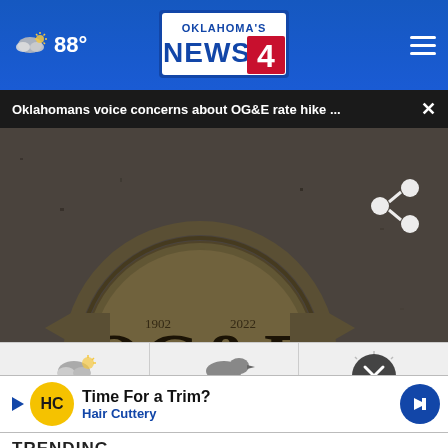88° Oklahoma's News 4
Oklahomans voice concerns about OG&E rate hike ... ×
[Figure (photo): OG&E logo mounted on a granite wall, shown in dark/dim lighting. The logo is a circular bronze emblem with 'OG&E' text in the center. A watermark shows Oklahoma's News 4 in the lower right corner.]
[Figure (other): Weather strip showing three weather condition icons side by side - cloudy/rainy, foggy/misty, and a circular close button icon]
[Figure (other): Advertisement banner: Hair Cuttery - Time For a Trim? with HC logo and navigation arrow]
TRENDING